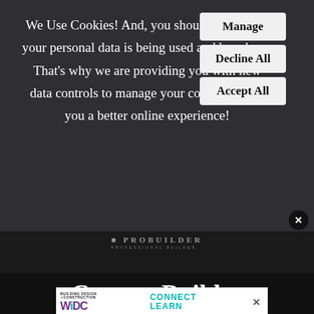We Use Cookies! And, you should know how your personal data is being used and by whom. That's why we are providing you with new data controls to manage your content giving you a better online experience!
Manage
Decline All
Accept All
×
[Figure (logo): PROBUILDER - PROFESSIONAL BUILDER logo in white text on dark background]
Custom Builder
[Figure (infographic): Building Design + Construction WDC Connect Learn advertisement banner]